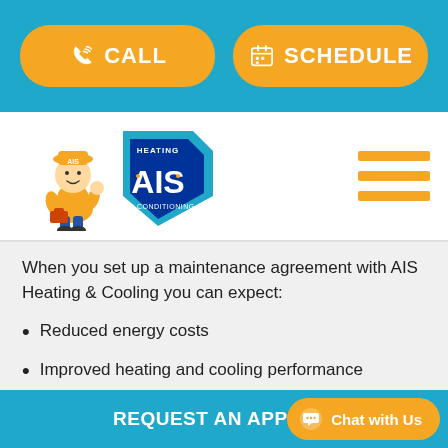[Figure (screenshot): Top teal header bar with two orange rounded buttons: CALL (phone icon) and SCHEDULE (calendar icon)]
[Figure (logo): AIS Heating & Air Conditioning logo with cartoon technician mascot giving thumbs up]
When you set up a maintenance agreement with AIS Heating & Cooling you can expect:
Reduced energy costs
Improved heating and cooling performance
A lower risk of mid-season breakdowns and costly HVAC repairs
A longer-lived HVAC system
REQUEST AN APPOINT
[Figure (screenshot): Orange rounded Chat with Us button with chat bubble icon in bottom right]